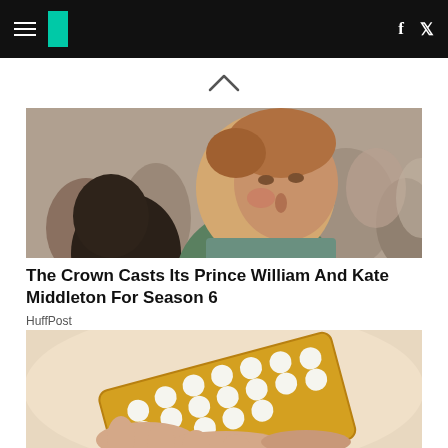HuffPost navigation with hamburger menu, logo, facebook and twitter icons
[Figure (photo): Upward chevron/caret symbol on white background]
[Figure (photo): Photo of Prince William and Kate Middleton in a crowd outdoors]
The Crown Casts Its Prince William And Kate Middleton For Season 6
HuffPost
[Figure (photo): Photo of a hand holding a blister pack of contraceptive pills]